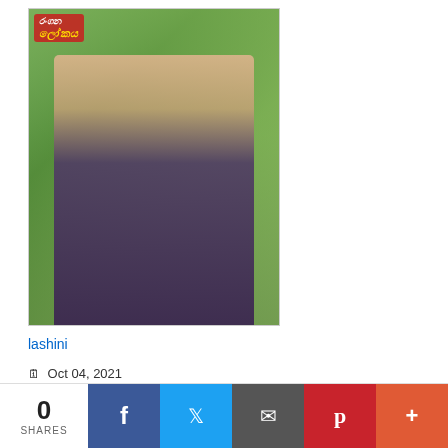[Figure (photo): Magazine cover showing a young woman with long dark hair wearing a floral dark top, with a green background and a logo at top left]
lashini
Oct 04, 2021
689
[Figure (photo): Magazine cover showing a young woman with long black hair wearing a red floral outfit, with a brown/orange tiled background and a logo at top left]
piumi
0 SHARES | Facebook | Twitter | Email | Pinterest | More